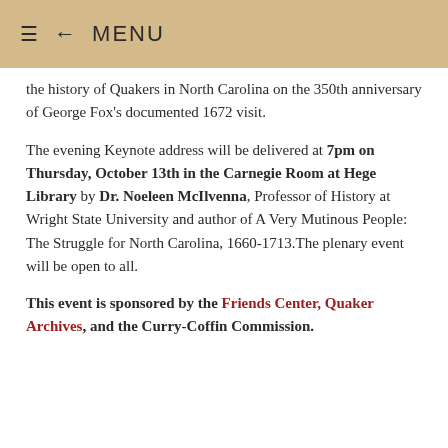≡  ← MENU
the history of Quakers in North Carolina on the 350th anniversary of George Fox's documented 1672 visit.
The evening Keynote address will be delivered at 7pm on Thursday, October 13th in the Carnegie Room at Hege Library by Dr. Noeleen McIlvenna, Professor of History at Wright State University and author of A Very Mutinous People: The Struggle for North Carolina, 1660-1713.The plenary event will be open to all.
This event is sponsored by the Friends Center, Quaker Archives, and the Curry-Coffin Commission.